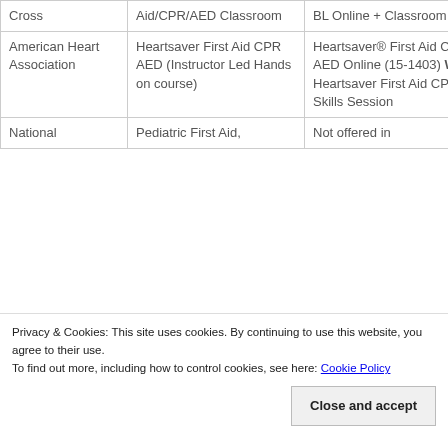| Organization | Course Name | Online Option |
| --- | --- | --- |
|  | Aid/CPR/AED Classroom | BL Online + Classroom |
| American Heart Association | Heartsaver First Aid CPR AED (Instructor Led Hands on course) | Heartsaver® First Aid CPR AED Online (15-1403) WITH Heartsaver First Aid CPR AED Skills Session |
| National | Pediatric First Aid, | Not offered in |
Privacy & Cookies: This site uses cookies. By continuing to use this website, you agree to their use. To find out more, including how to control cookies, see here: Cookie Policy
Close and accept